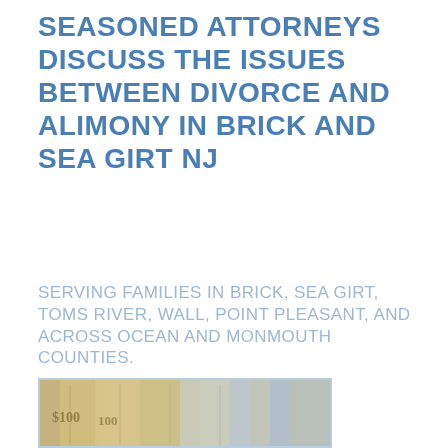SEASONED ATTORNEYS DISCUSS THE ISSUES BETWEEN DIVORCE AND ALIMONY IN BRICK AND SEA GIRT NJ
SERVING FAMILIES IN BRICK, SEA GIRT, TOMS RIVER, WALL, POINT PLEASANT, AND ACROSS OCEAN AND MONMOUTH COUNTIES.
[Figure (photo): A photograph showing fanned-out US $100 dollar bills overlapping, with a slightly transparent/washed-out appearance.]